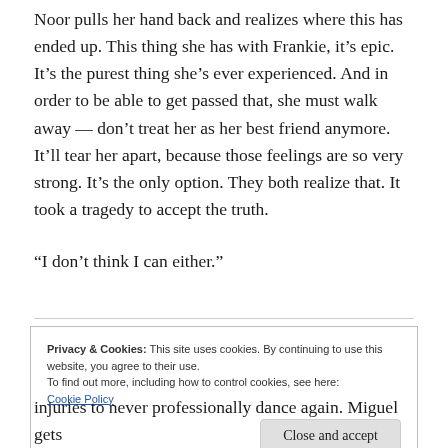Noor pulls her hand back and realizes where this has ended up. This thing she has with Frankie, it's epic. It's the purest thing she's ever experienced. And in order to be able to get passed that, she must walk away — don't treat her as her best friend anymore. It'll tear her apart, because those feelings are so very strong. It's the only option. They both realize that. It took a tragedy to accept the truth.
“I don’t think I can either.”
Privacy & Cookies: This site uses cookies. By continuing to use this website, you agree to their use.
To find out more, including how to control cookies, see here:
Cookie Policy
Close and accept
injuries to never professionally dance again. Miguel gets